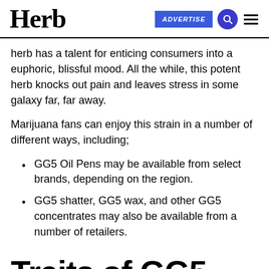Herb | ADVERTISE
herb has a talent for enticing consumers into a euphoric, blissful mood. All the while, this potent herb knocks out pain and leaves stress in some galaxy far, far away.
Marijuana fans can enjoy this strain in a number of different ways, including;
GG5 Oil Pens may be available from select brands, depending on the region.
GG5 shatter, GG5 wax, and other GG5 concentrates may also be available from a number of retailers.
Traits of GG5 and